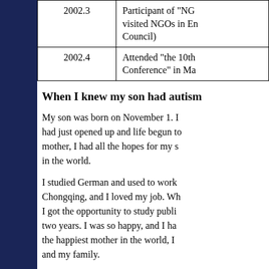| Date | Activity |
| --- | --- |
| 2002.3 | Participant of "NG... visited NGOs in En... Council) |
| 2002.4 | Attended "the 10th... Conference" in Ma... |
When I knew my son had autism
My son was born on November 1. I had just opened up and life begun to... mother, I had all the hopes for my s... in the world.
I studied German and used to work ... Chongqing, and I loved my job. Wh... I got the opportunity to study publi... two years. I was so happy, and I ha... the happiest mother in the world, I ... and my family.
But when I returned, the first blow ... year-old son not able to speak no m... ... this at that time totally...